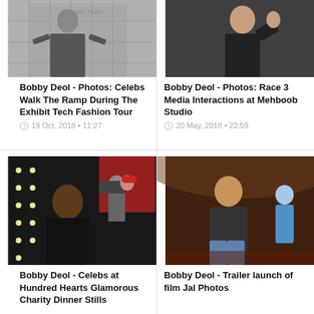[Figure (photo): Bobby Deol at Exhibit Tech Fashion Tour ramp walk event, person in suit with logo backdrop]
Bobby Deol - Photos: Celebs Walk The Ramp During The Exhibit Tech Fashion Tour
19 Oct, 2018 • 11:27
[Figure (photo): Bobby Deol giving thumbs up at Race 3 Media Interactions at Mehboob Studio, black t-shirt]
Bobby Deol - Photos: Race 3 Media Interactions at Mehboob Studio
20 May, 2018 • 22:59
[Figure (photo): Bobby Deol at Hundred Hearts Glamorous Charity Dinner with string lights in background]
Bobby Deol - Celebs at Hundred Hearts Glamorous Charity Dinner Stills
[Figure (photo): Bobby Deol smiling at Trailer launch of film Jal Photos at a cinema venue]
Bobby Deol - Trailer launch of film Jal Photos